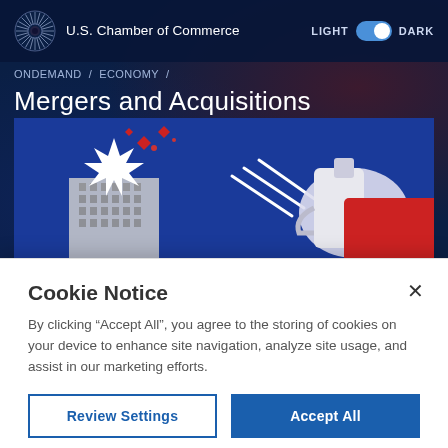U.S. Chamber of Commerce
ONDEMAND / ECONOMY /
Mergers and Acquisitions
[Figure (illustration): Illustrated hero image showing a hand holding a spray bottle pointed at a building with an explosion/star burst, on a dark blue background with red geometric shapes]
Cookie Notice
By clicking “Accept All”, you agree to the storing of cookies on your device to enhance site navigation, analyze site usage, and assist in our marketing efforts.
Review Settings
Accept All